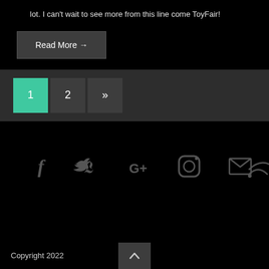lot. I can't wait to see more from this line come ToyFair!
Read More →
1
2
»
[Figure (other): Social media icons row: Facebook (f), Twitter (bird), Google+ (G+), Instagram (circle), Email (envelope), RSS (wifi/signal icon)]
Copyright 2022